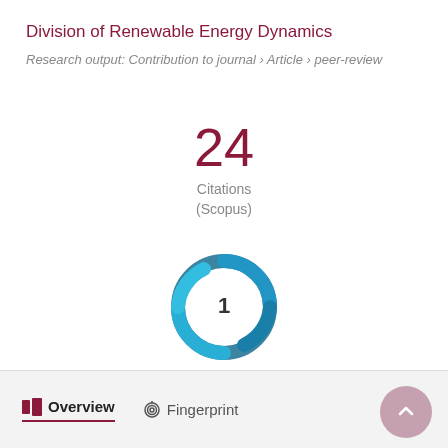Division of Renewable Energy Dynamics
Research output: Contribution to journal › Article › peer-review
[Figure (other): Citation count display showing 24 Citations (Scopus)]
[Figure (donut-chart): Altmetric donut badge showing score of 1]
Overview   Fingerprint